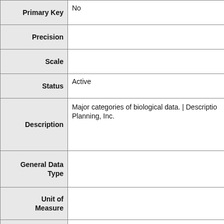| Field | Value |
| --- | --- |
| Primary Key | No |
| Precision |  |
| Scale |  |
| Status | Active |
| Description | Major categories of biological data. | Description Planning, Inc. |
| General Data Type |  |
| Unit of Measure |  |
| Case Restriction |  |
| Display Example |  |
| Format Mask |  |
| Null Value |  |